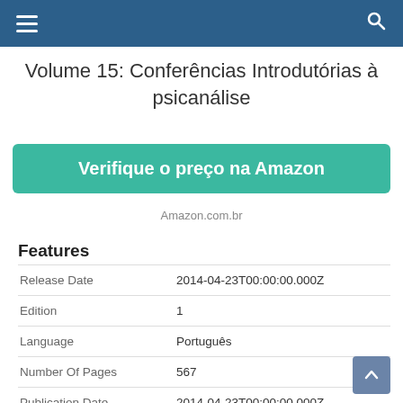Volume 15: Conferências Introdutórias à psicanálise
Verifique o preço na Amazon
Amazon.com.br
Features
|  |  |
| --- | --- |
| Release Date | 2014-04-23T00:00:00.000Z |
| Edition | 1 |
| Language | Português |
| Number Of Pages | 567 |
| Publication Date | 2014-04-23T00:00:00.000Z |
| Format | eBook Kindle |